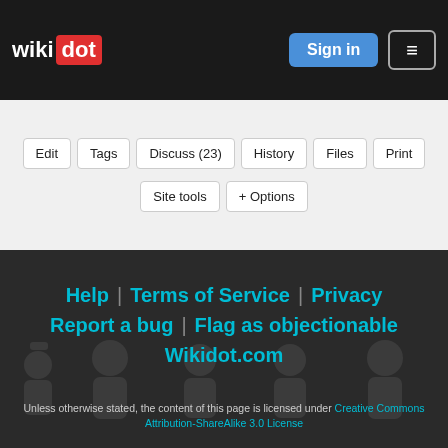wikidot | Sign in | Menu
Edit
Tags
Discuss (23)
History
Files
Print
Site tools
+ Options
Help | Terms of Service | Privacy | Report a bug | Flag as objectionable | Wikidot.com
Unless otherwise stated, the content of this page is licensed under Creative Commons Attribution-ShareAlike 3.0 License